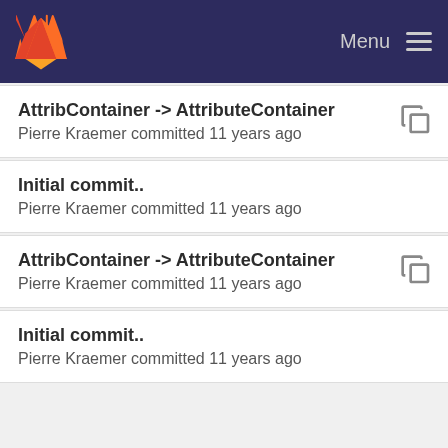Menu
AttribContainer -> AttributeContainer
Pierre Kraemer committed 11 years ago
Initial commit..
Pierre Kraemer committed 11 years ago
AttribContainer -> AttributeContainer
Pierre Kraemer committed 11 years ago
Initial commit..
Pierre Kraemer committed 11 years ago